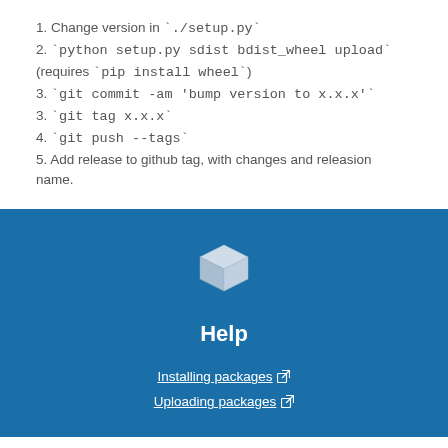1. Change version in `./setup.py`
2. `python setup.py sdist bdist_wheel upload` (requires `pip install wheel`)
3. `git commit -am 'bump version to x.x.x'`
3. `git tag x.x.x`
4. `git push --tags`
5. Add release to github tag, with changes and releasion name.
[Figure (logo): White 3D cube icon on blue background]
Help
Installing packages
Uploading packages